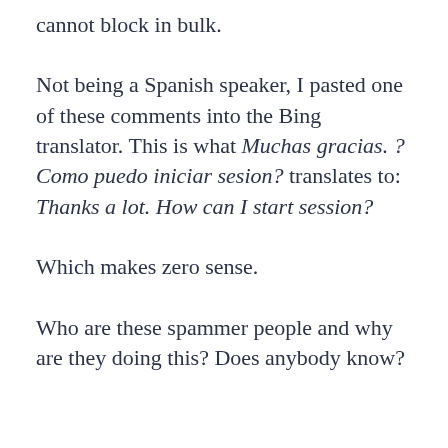cannot block in bulk.
Not being a Spanish speaker, I pasted one of these comments into the Bing translator. This is what Muchas gracias. ?Como puedo iniciar sesion? translates to: Thanks a lot. How can I start session?
Which makes zero sense.
Who are these spammer people and why are they doing this? Does anybody know?